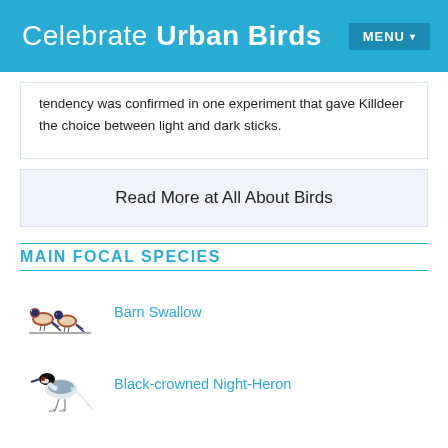Celebrate Urban Birds  MENU
tendency was confirmed in one experiment that gave Killdeer the choice between light and dark sticks.
Read More at All About Birds
MAIN FOCAL SPECIES
Barn Swallow
Black-crowned Night-Heron